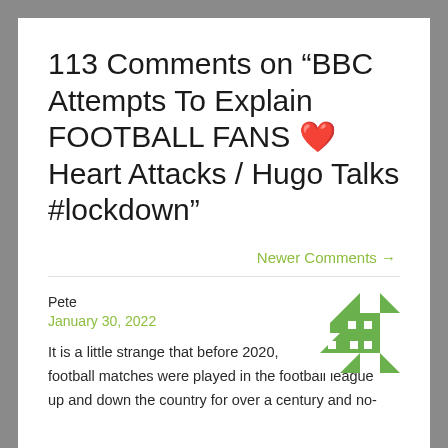113 Comments on “BBC Attempts To Explain FOOTBALL FANS ❤️ Heart Attacks / Hugo Talks #lockdown”
Newer Comments →
Pete
January 30, 2022
[Figure (other): Green and white geometric pattern avatar for user Pete]
It is a little strange that before 2020, football matches were played in the football league up and down the country for over a century and no-